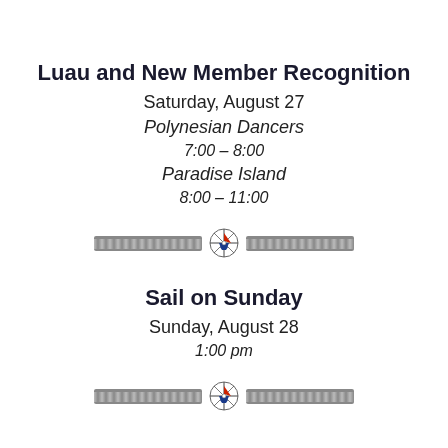Luau and New Member Recognition
Saturday, August 27
Polynesian Dancers
7:00 – 8:00
Paradise Island
8:00 – 11:00
[Figure (illustration): Decorative rope divider with sailing club emblem in the center]
Sail on Sunday
Sunday, August 28
1:00 pm
[Figure (illustration): Decorative rope divider with sailing club emblem in the center]